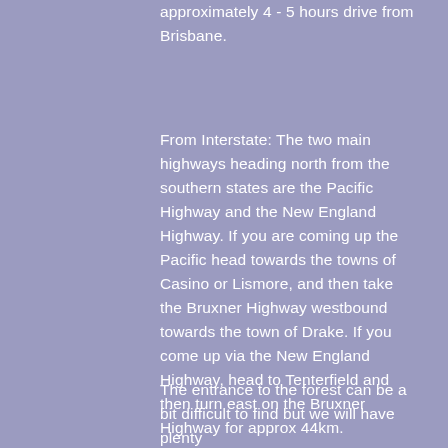approximately 4 - 5 hours drive from Brisbane.
From Interstate: The two main highways heading north from the southern states are the Pacific Highway and the New England Highway. If you are coming up the Pacific head towards the towns of Casino or Lismore, and then take the Bruxner Highway westbound towards the town of Drake. If you come up via the New England Highway, head to Tenterfield and then turn east on the Bruxner Highway for approx 44km.
The entrance to the forest can be a bit difficult to find but we will have plenty